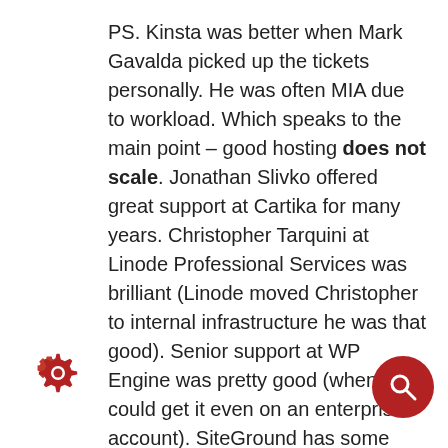PS. Kinsta was better when Mark Gavalda picked up the tickets personally. He was often MIA due to workload. Which speaks to the main point – good hosting does not scale. Jonathan Slivko offered great support at Cartika for many years. Christopher Tarquini at Linode Professional Services was brilliant (Linode moved Christopher to internal infrastructure he was that good). Senior support at WP Engine was pretty good (when you could get it even on an enterprise account). SiteGround has some brilliant senior engineers as well. I wish I could remember more names of some of brilliant support minds who have
[Figure (illustration): Gear/settings icon in dark red/crimson color, bottom left area]
[Figure (illustration): Dark red circular search button with white search icon, bottom right]